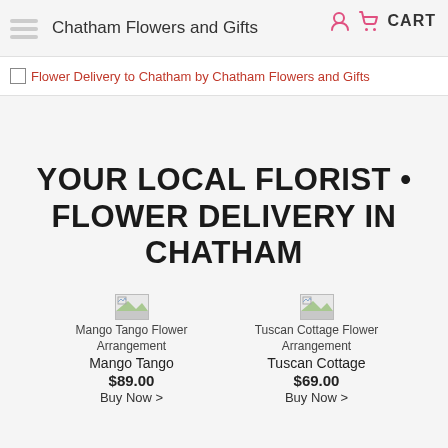Chatham Flowers and Gifts
CART
Flower Delivery to Chatham by Chatham Flowers and Gifts
YOUR LOCAL FLORIST • FLOWER DELIVERY IN CHATHAM
[Figure (photo): Mango Tango Flower Arrangement product image placeholder]
Mango Tango Flower Arrangement
Mango Tango
$89.00
Buy Now >
[Figure (photo): Tuscan Cottage Flower Arrangement product image placeholder]
Tuscan Cottage Flower Arrangement
Tuscan Cottage
$69.00
Buy Now >